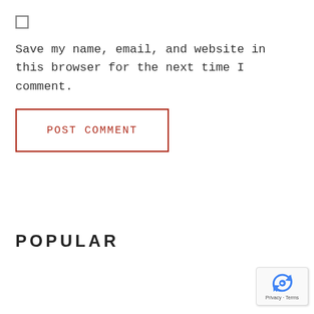[Figure (other): Unchecked checkbox square]
Save my name, email, and website in this browser for the next time I comment.
[Figure (other): POST COMMENT button with red border]
POPULAR
[Figure (other): reCAPTCHA badge with Privacy · Terms text]